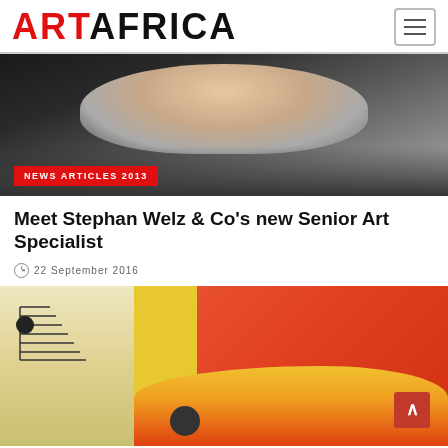ART AFRICA
[Figure (photo): Close-up photo of a smiling man in a dark suit and striped collar shirt, hand raised to chin]
NEWS ARTICLES 2013
Meet Stephan Welz & Co's new Senior Art Specialist
22 September 2016
[Figure (photo): Colorful painting with abstract figures on orange/red background with yellow and cream shapes suggesting stairs on the left]